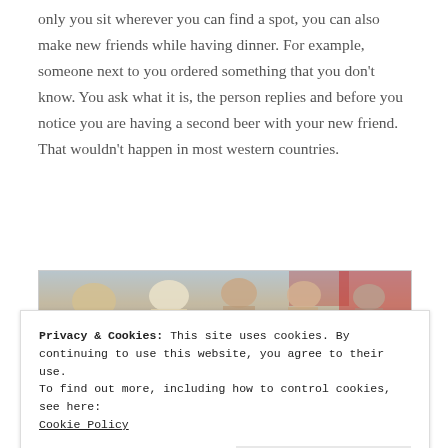only you sit wherever you can find a spot, you can also make new friends while having dinner. For example, someone next to you ordered something that you don't know. You ask what it is, the person replies and before you notice you are having a second beer with your new friend. That wouldn't happen in most western countries.
[Figure (photo): People dining together at a crowded outdoor or communal restaurant, visible in partial view with figures seated at tables.]
Privacy & Cookies: This site uses cookies. By continuing to use this website, you agree to their use.
To find out more, including how to control cookies, see here:
Cookie Policy